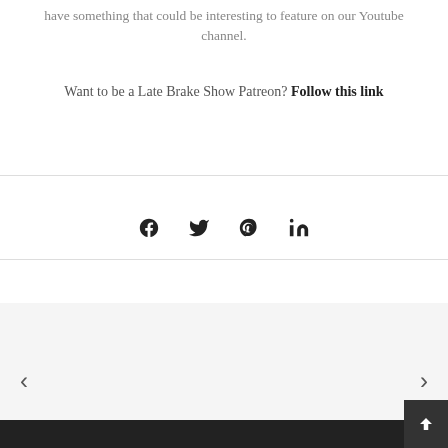have something that could be interesting to feature on our Youtube channel.
Want to be a Late Brake Show Patreon? Follow this link
[Figure (infographic): Social media share icons: Facebook (f), Twitter (bird), Pinterest (P in circle), LinkedIn (in)]
< (previous navigation arrow)
> (next navigation arrow)